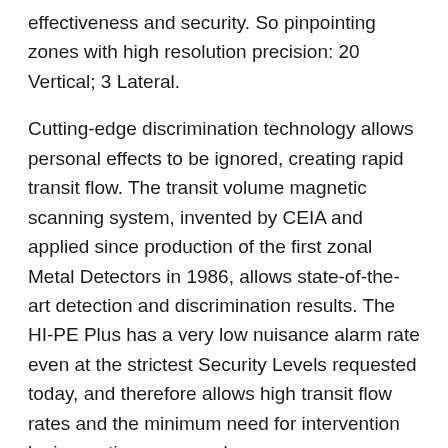effectiveness and security. So pinpointing zones with high resolution precision: 20 Vertical; 3 Lateral.
Cutting-edge discrimination technology allows personal effects to be ignored, creating rapid transit flow. The transit volume magnetic scanning system, invented by CEIA and applied since production of the first zonal Metal Detectors in 1986, allows state-of-the-art detection and discrimination results. The HI-PE Plus has a very low nuisance alarm rate even at the strictest Security Levels requested today, and therefore allows high transit flow rates and the minimum need for intervention by inspection personnel.
4 Multi-Zone Display Bars, each programmable as